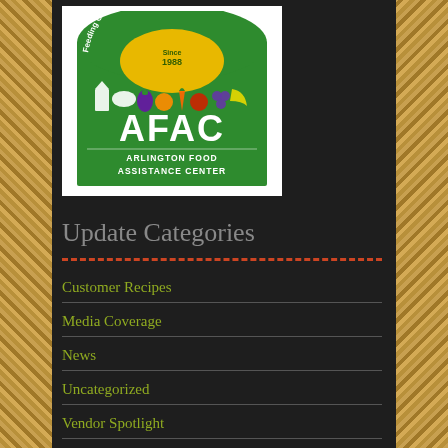[Figure (logo): AFAC Arlington Food Assistance Center logo. Green arch with yellow sun/dome, 'Since 1988', white food icons (milk, bread, vegetables, fruits), 'AFAC' in large white letters, 'ARLINGTON FOOD ASSISTANCE CENTER' in dark text at bottom. Circular text reads 'Feeding Our Neighbors in Need'.]
Update Categories
Customer Recipes
Media Coverage
News
Uncategorized
Vendor Spotlight